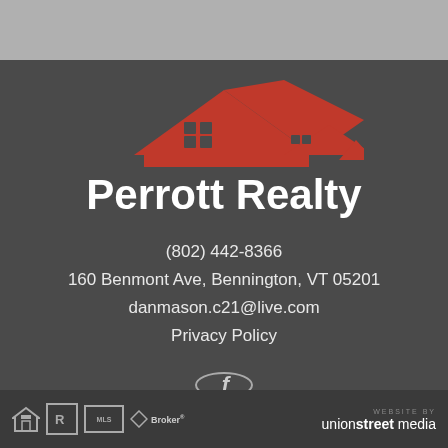[Figure (logo): Perrott Realty logo: red house rooftop silhouette above bold white text 'Perrott Realty' on dark gray background]
(802) 442-8366
160 Benmont Ave, Bennington, VT 05201
danmason.c21@live.com
Privacy Policy
[Figure (illustration): Facebook icon 'f' inside a thin circle outline on dark gray background]
Equal Housing, Realtor, MLS, Broker logos | WEBSITE BY unionstreet media